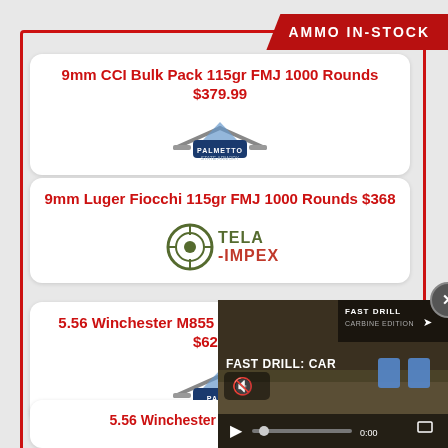AMMO IN-STOCK
9mm CCI Bulk Pack 115gr FMJ 1000 Rounds $379.99
[Figure (logo): Palmetto State Armory logo with crossed rifles]
9mm Luger Fiocchi 115gr FMJ 1000 Rounds $368
[Figure (logo): Tela-Impex logo with circular target]
5.56 Winchester M855 62gr FMJ 1000 Rounds $629.99
[Figure (logo): Palmetto State Armory logo (partially obscured by video overlay)]
5.56 Winchester M855 420 Rounds
[Figure (screenshot): Video overlay showing FAST DRILL: CAR video with play controls, mute icon, and blue target silhouettes]
[Figure (logo): Palmetto State Armory logo (partially visible at bottom)]